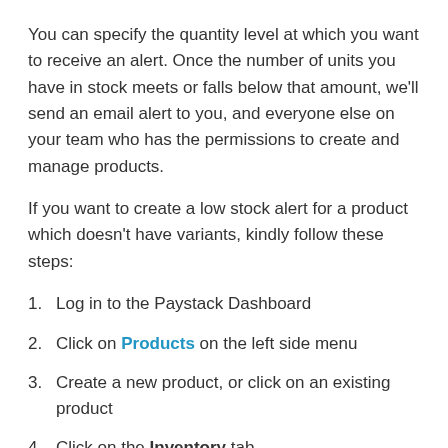You can specify the quantity level at which you want to receive an alert. Once the number of units you have in stock meets or falls below that amount, we'll send an email alert to you, and everyone else on your team who has the permissions to create and manage products.
If you want to create a low stock alert for a product which doesn't have variants, kindly follow these steps:
1. Log in to the Paystack Dashboard
2. Click on Products on the left side menu
3. Create a new product, or click on an existing product
4. Click on the Inventory tab
5. Click on Edit
6. Toggle the Low Stock Alert button
7. Enter the number of stock at which you'd like Paystack to alert you in the Notify when stock is... field